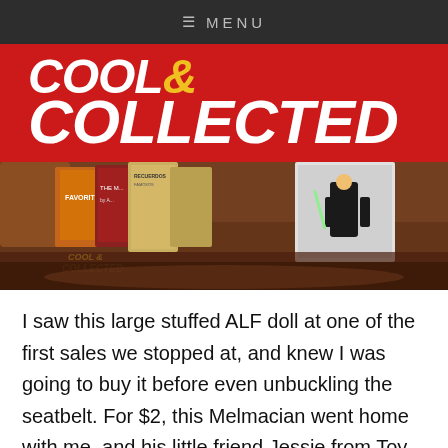≡ MENU
[Figure (logo): Cool & Collected logo on red background]
[Figure (photo): Photo of vintage books, comics, and collectibles on a brown leather surface with Cool & Collected logo watermark]
I saw this large stuffed ALF doll at one of the first sales we stopped at, and knew I was going to buy it before even unbuckling the seatbelt. For $2, this Melmacian went home with me, and his little friend Jessie from Toy Story came along for the ride. I